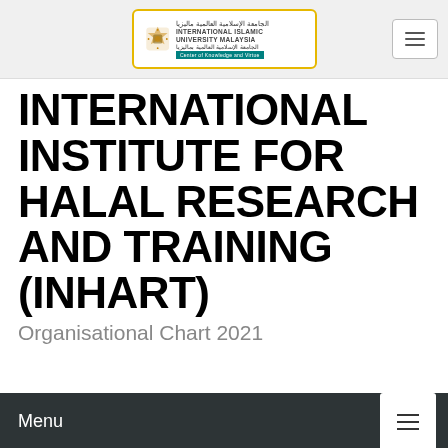[Figure (logo): International Islamic University Malaysia (IIUM) logo with decorative emblem, Arabic text, English text, and teal tagline bar in a yellow-bordered white box]
INTERNATIONAL INSTITUTE FOR HALAL RESEARCH AND TRAINING (INHART)
Organisational Chart 2021
Menu
Contact Info